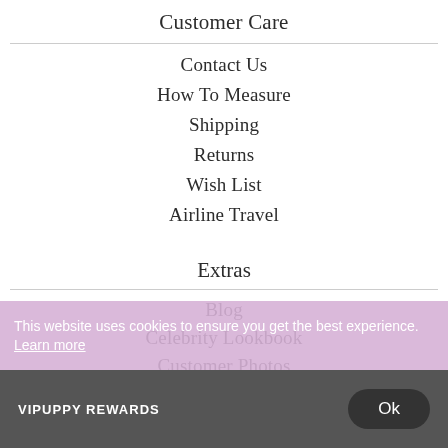Customer Care
Contact Us
How To Measure
Shipping
Returns
Wish List
Airline Travel
Extras
Blog
Celebrity Lookbook
Customer Photos
Press
Press Releases
Themes
Rewards Program
This website uses cookies to ensure you get the best experience. Learn more
VIPUPPY REWARDS
Ok